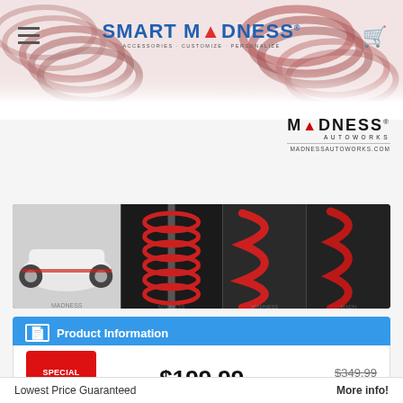Smart Madness - Accessories. Customize. Personalize.
[Figure (logo): Madness Autoworks logo with text MADNESSAUTOWORKS.COM]
[Figure (photo): Strip of 4 product images: white smart car with red springs, coilover spring assembly close-up, red lowering springs, red performance springs]
Product Information
$199.99
$349.99 Save: $150.00
Starting at $19/mo with affirm. Prequalify now
Lowest Price Guaranteed
More info!